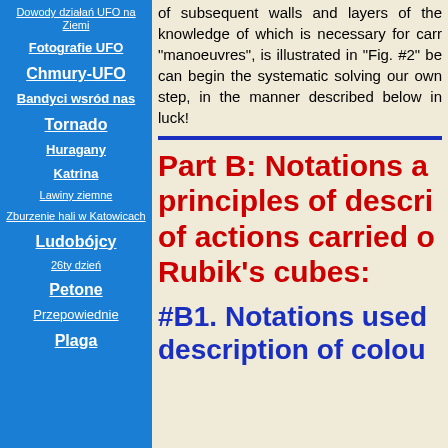Dowody działań UFO na Ziemi
Fotografie UFO
Chmury-UFO
Bandyci wsród nas
Tornado
Huragany
Katrina
Lawiny ziemne
Zburzenie hali w Katowicach
Ludobójcy
26ty dzień
Petone
Przepowiednie
Plaga
of subsequent walls and layers of the knowledge of which is necessary for carrying out "manoeuvres", is illustrated in "Fig. #2" be can begin the systematic solving our own step, in the manner described below in luck!
Part B: Notations and principles of description of actions carried out on Rubik's cubes:
#B1. Notations used in description of colo